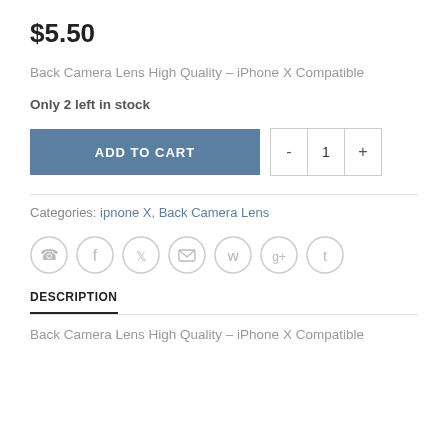$5.50
Back Camera Lens High Quality – iPhone X Compatible
Only 2 left in stock
[Figure (other): ADD TO CART button and quantity selector with - 1 + controls]
Categories: ipnone X, Back Camera Lens
[Figure (other): Social sharing icons: phone, facebook, twitter, email, pinterest, google+, tumblr]
DESCRIPTION
Back Camera Lens High Quality – iPhone X Compatible